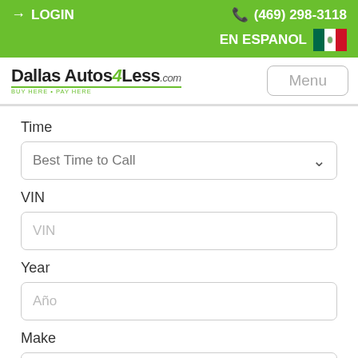LOGIN  (469) 298-3118  EN ESPANOL
[Figure (logo): Dallas Autos 4 Less .com logo with BUY HERE • PAY HERE tagline]
Menu
Time
Best Time to Call
VIN
VIN
Year
Año
Make
Hacer